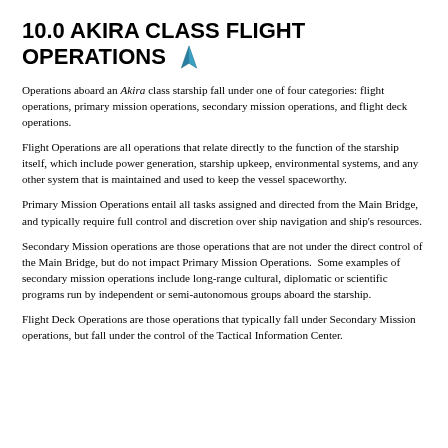10.0  AKIRA CLASS FLIGHT OPERATIONS
Operations aboard an Akira class starship fall under one of four categories: flight operations, primary mission operations, secondary mission operations, and flight deck operations.
Flight Operations are all operations that relate directly to the function of the starship itself, which include power generation, starship upkeep, environmental systems, and any other system that is maintained and used to keep the vessel spaceworthy.
Primary Mission Operations entail all tasks assigned and directed from the Main Bridge, and typically require full control and discretion over ship navigation and ship's resources.
Secondary Mission operations are those operations that are not under the direct control of the Main Bridge, but do not impact Primary Mission Operations.  Some examples of secondary mission operations include long-range cultural, diplomatic or scientific programs run by independent or semi-autonomous groups aboard the starship.
Flight Deck Operations are those operations that typically fall under Secondary Mission operations, but fall under the control of the Tactical Information Center.